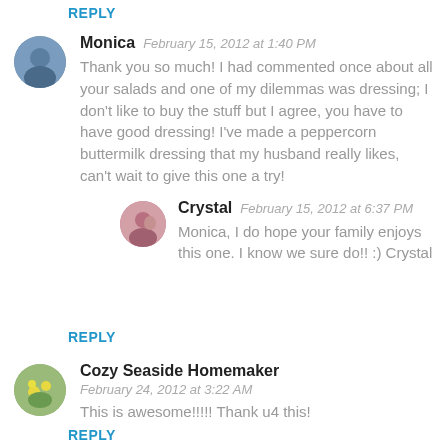REPLY
Monica   February 15, 2012 at 1:40 PM
Thank you so much! I had commented once about all your salads and one of my dilemmas was dressing; I don't like to buy the stuff but I agree, you have to have good dressing! I've made a peppercorn buttermilk dressing that my husband really likes, can't wait to give this one a try!
Crystal   February 15, 2012 at 6:37 PM
Monica, I do hope your family enjoys this one. I know we sure do!! :) Crystal
REPLY
Cozy Seaside Homemaker   February 24, 2012 at 3:22 AM
This is awesome!!!!! Thank u4 this!
REPLY